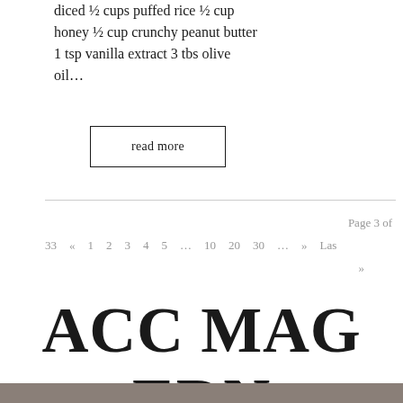diced ½ cups puffed rice ½ cup honey ½ cup crunchy peanut butter 1 tsp vanilla extract 3 tbs olive oil...
read more
Page 3 of 33 « 1 2 3 4 5 … 10 20 30 … » Last »
ACC MAG EDN 14